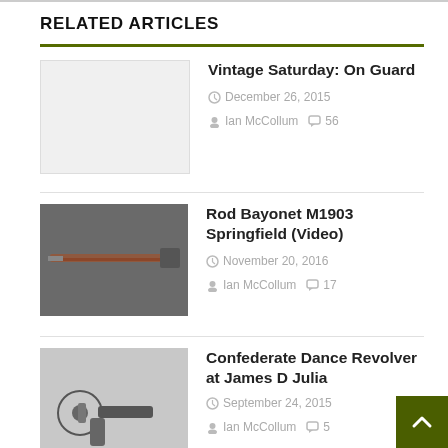RELATED ARTICLES
Vintage Saturday: On Guard — December 26, 2015 — Ian McCollum — 56 comments
Rod Bayonet M1903 Springfield (Video) — November 20, 2016 — Ian McCollum — 17 comments
Confederate Dance Revolver at James D Julia — September 24, 2015 — Ian McCollum — 5 comments
29 COMMENTS
Nick says: